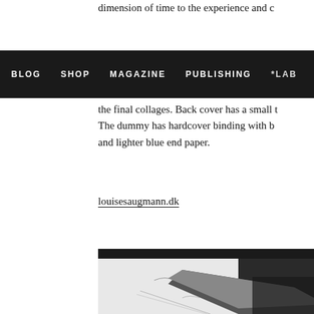dimension of time to the experience and c
BLOG   SHOP   MAGAZINE   PUBLISHING   *LAB
the final collages. Back cover has a small t The dummy has hardcover binding with l and lighter blue end paper.
louisesaugmann.dk
[Figure (photo): Black and white close-up photograph of what appears to be book binding materials, including fabric, thread, and binding elements on a light surface.]